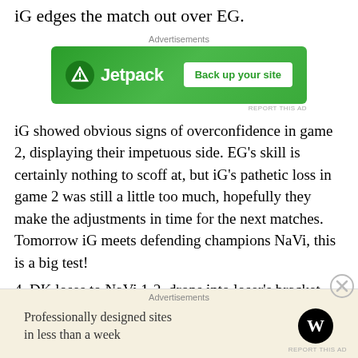iG edges the match out over EG.
[Figure (other): Jetpack advertisement banner: green background with Jetpack logo and 'Back up your site' button]
iG showed obvious signs of overconfidence in game 2, displaying their impetuous side. EG’s skill is certainly nothing to scoff at, but iG’s pathetic loss in game 2 was still a little too much, hopefully they make the adjustments in time for the next matches. Tomorrow iG meets defending champions NaVi, this is a big test!
4. DK loses to NaVi 1-2, drops into loser’s bracket
The first game was so bad it nearly blinded the audience
[Figure (other): WordPress advertisement: 'Professionally designed sites in less than a week' with WordPress logo]